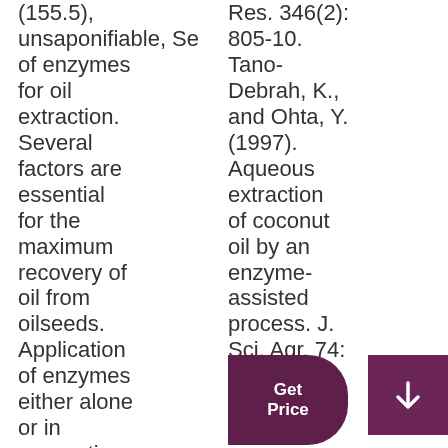(155.5), unsaponifiable, Selection of enzymes for oil extraction. Several factors are essential for the maximum recovery of oil from oilseeds. Application of enzymes either alone or in concoction can be determined based on
Res. 346(2): 805-10. Tano-Debrah, K., and Ohta, Y. (1997). Aqueous extraction of coconut oil by an enzyme-assisted process. J. Sci. Agr. 74: 497-502.